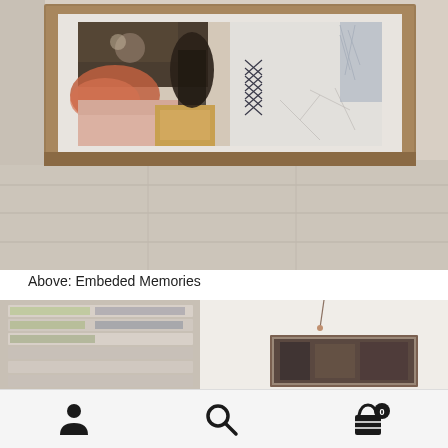[Figure (photo): A framed abstract artwork titled 'Embeded Memories' hung on a textured white/beige wall. The painting features mixed media with earthy tones including terracotta, beige, white, and dark brown, with feather-like and leaf motifs, and a herringbone pattern section.]
Above: Embeded Memories
[Figure (photo): Partial view of a room interior with louvered shutters on the left and a small framed artwork hanging on a white wall on the right, with a visible hanging cord/string.]
[Figure (infographic): Bottom navigation bar with three icons: a person/user icon on the left, a search/magnifying glass icon in the center, and a shopping basket icon with a badge showing '0' on the right.]